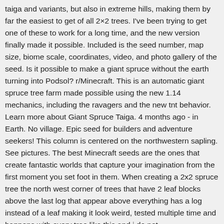taiga and variants, but also in extreme hills, making them by far the easiest to get of all 2×2 trees. I've been trying to get one of these to work for a long time, and the new version finally made it possible. Included is the seed number, map size, biome scale, coordinates, video, and photo gallery of the seed. Is it possible to make a giant spruce without the earth turning into Podsol? r/Minecraft. This is an automatic giant spruce tree farm made possible using the new 1.14 mechanics, including the ravagers and the new tnt behavior. Learn more about Giant Spruce Taiga. 4 months ago - in Earth. No village. Epic seed for builders and adventure seekers! This column is centered on the northwestern sapling. See pictures. The best Minecraft seeds are the ones that create fantastic worlds that capture your imagination from the first moment you set foot in them. When creating a 2x2 spruce tree the north west corner of trees that have 2 leaf blocks above the last log that appear above everything has a log instead of a leaf making it look weird, tested multiple time and happens with every tree like this and i do not